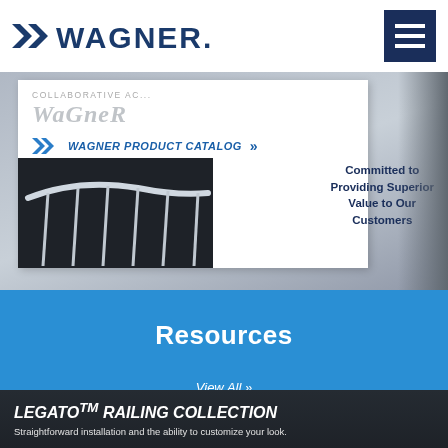WAGNER (logo) with hamburger menu
[Figure (photo): Wagner product catalog image showing a railing with text 'WAGNER PRODUCT CATALOG' and 'Committed to Providing Superior Value to Our Customers']
Resources
View All »
LEGATO™ RAILING COLLECTION
Straightforward installation and the ability to customize your look.